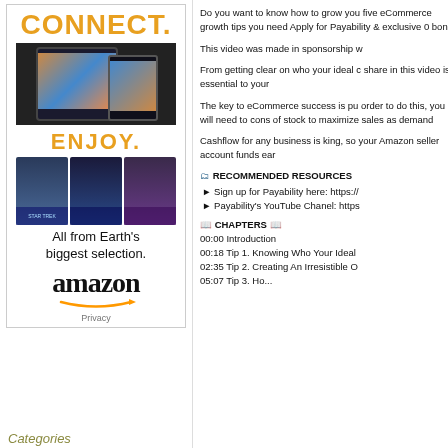[Figure (advertisement): Amazon advertisement with CONNECT header in orange, Kindle devices image, ENJOY header in orange, movie thumbnails, 'All from Earth's biggest selection.' tagline, Amazon logo with arrow, and Privacy link]
Categories
Do you want to know how to grow you five eCommerce growth tips you need Apply for Payability & exclusive 0 bon
This video was made in sponsorship w
From getting clear on who your ideal c share in this video is essential to your
The key to eCommerce success is pu order to do this, you will need to cons of stock to maximize sales as demand
Cashflow for any business is king, so your Amazon seller account funds ear
🗂 RECOMMENDED RESOURCES
► Sign up for Payability here: https://
► Payability's YouTube Chanel: https
📖 CHAPTERS 📖
00:00 Introduction
00:18 Tip 1. Knowing Who Your Ideal
02:35 Tip 2. Creating An Irresistible O
05:07 Tip 3. Ho...